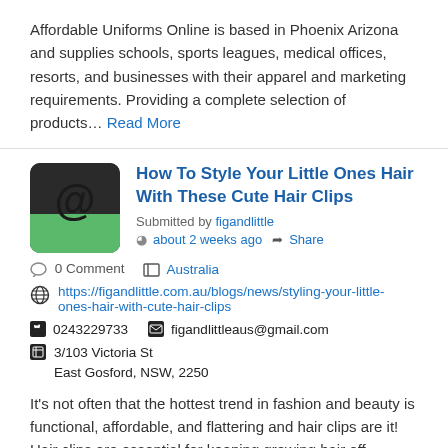Affordable Uniforms Online is based in Phoenix Arizona and supplies schools, sports leagues, medical offices, resorts, and businesses with their apparel and marketing requirements. Providing a complete selection of products... Read More
How To Style Your Little Ones Hair With These Cute Hair Clips
Submitted by figandlittle
about 2 weeks ago  Share
0 Comment   Australia
https://figandlittle.com.au/blogs/news/styling-your-little-ones-hair-with-cute-hair-clips
0243229733   figandlittleaus@gmail.com
3/103 Victoria St East Gosford, NSW, 2250
It's not often that the hottest trend in fashion and beauty is functional, affordable, and flattering and hair clips are it! Hair clips are essential for keeping growing hair off... Read More